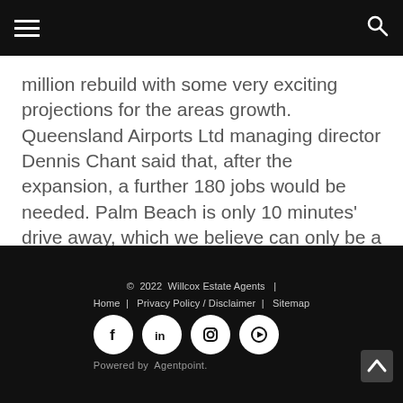million rebuild with some very exciting projections for the areas growth. Queensland Airports Ltd managing director Dennis Chant said that, after the expansion, a further 180 jobs would be needed. Palm Beach is only 10 minutes' drive away, which we believe can only be a good thing for their future!
© 2022 Willcox Estate Agents | Home | Privacy Policy / Disclaimer | Sitemap
Powered by Agentpoint.